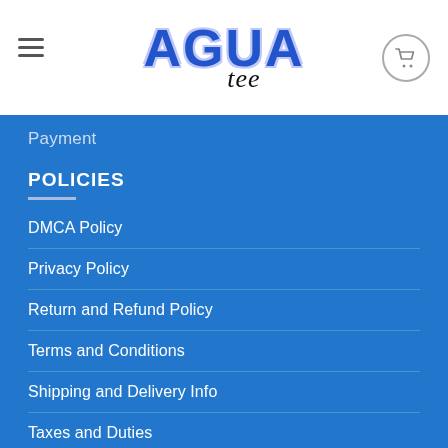[Figure (logo): Agua Tee logo with hamburger menu and shopping cart icon in header]
Payment
POLICIES
DMCA Policy
Privacy Policy
Return and Refund Policy
Terms and Conditions
Shipping and Delivery Info
Taxes and Duties
SIGNUP FOR NEWSLETTER